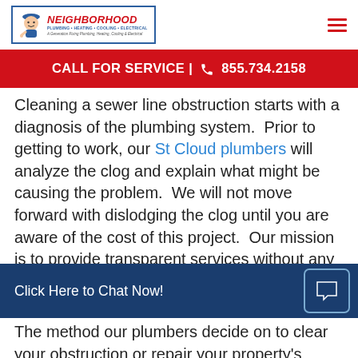[Figure (logo): Neighborhood Plumbing Heating Cooling Electrical logo with mascot character wearing a cap]
CALL FOR SERVICE | 855.734.2158
Cleaning a sewer line obstruction starts with a diagnosis of the plumbing system.  Prior to getting to work, our St Cloud plumbers will analyze the clog and explain what might be causing the problem.  We will not move forward with dislodging the clog until you are aware of the cost of this project.  Our mission is to provide transparent services without any hidden fees that inspire you to recommend us
Click Here to Chat Now!
The method our plumbers decide on to clear your obstruction or repair your property's sewer main